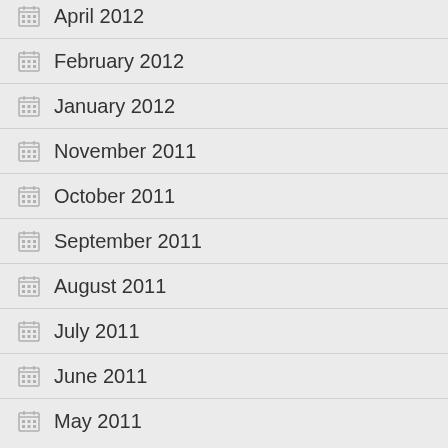April 2012
February 2012
January 2012
November 2011
October 2011
September 2011
August 2011
July 2011
June 2011
May 2011